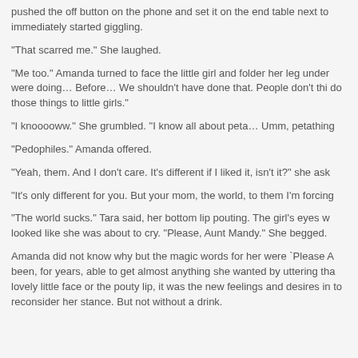pushed the off button on the phone and set it on the end table next to immediately started giggling.
“That scarred me.” She laughed.
“Me too.” Amanda turned to face the little girl and folder her leg under were doing… Before… We shouldn’t have done that. People don’t thi do those things to little girls.”
“I knooooww.” She grumbled. “I know all about peta… Umm, petathing
“Pedophiles.” Amanda offered.
“Yeah, them. And I don’t care. It’s different if I liked it, isn’t it?” she ask
“It’s only different for you. But your mom, the world, to them I’m forcing
“The world sucks.” Tara said, her bottom lip pouting. The girl’s eyes w looked like she was about to cry. “Please, Aunt Mandy.” She begged.
Amanda did not know why but the magic words for her were `Please A been, for years, able to get almost anything she wanted by uttering tha lovely little face or the pouty lip, it was the new feelings and desires in to reconsider her stance. But not without a drink.